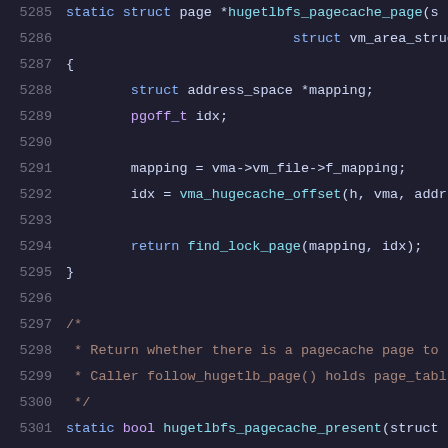[Figure (screenshot): Source code snippet showing C code for hugetlbfs pagecache functions, lines 5285-5306, with syntax highlighting on dark background]